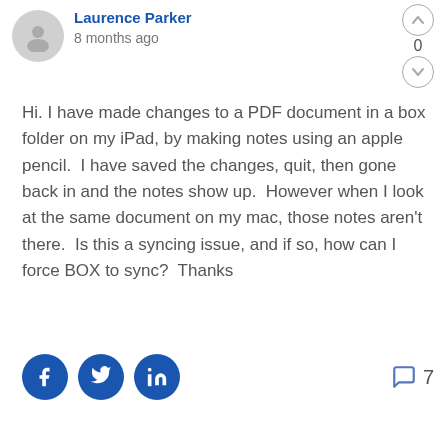Laurence Parker
8 months ago
Hi. I have made changes to a PDF document in a box folder on my iPad, by making notes using an apple pencil.  I have saved the changes, quit, then gone back in and the notes show up.  However when I look at the same document on my mac, those notes aren't there.  Is this a syncing issue, and if so, how can I force BOX to sync?  Thanks
[Figure (infographic): Social sharing icons: Facebook, Twitter, LinkedIn circles, and a comment count of 7]